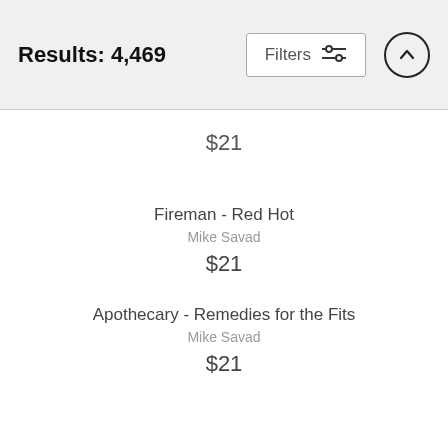Results: 4,469
$21
Fireman - Red Hot
Mike Savad
$21
Apothecary - Remedies for the Fits
Mike Savad
$21